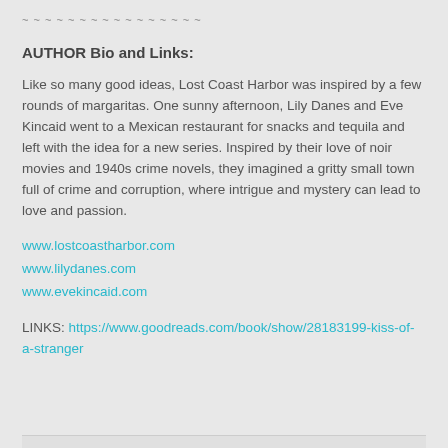~ ~ ~ ~ ~ ~ ~ ~ ~ ~ ~ ~ ~ ~ ~ ~
AUTHOR Bio and Links:
Like so many good ideas, Lost Coast Harbor was inspired by a few rounds of margaritas. One sunny afternoon, Lily Danes and Eve Kincaid went to a Mexican restaurant for snacks and tequila and left with the idea for a new series. Inspired by their love of noir movies and 1940s crime novels, they imagined a gritty small town full of crime and corruption, where intrigue and mystery can lead to love and passion.
www.lostcoastharbor.com
www.lilydanes.com
www.evekincaid.com
LINKS: https://www.goodreads.com/book/show/28183199-kiss-of-a-stranger